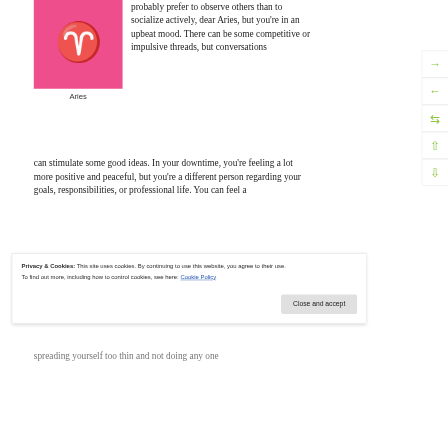[Figure (illustration): Pink square with white Aries zodiac symbol (ram horns) in the center]
Aries
probably prefer to observe others than to socialize actively, dear Aries, but you're in an upbeat mood. There can be some competitive or impulsive threads, but conversations can stimulate some good ideas. In your downtime, you're feeling a lot more positive and peaceful, but you're a different person regarding your goals, responsibilities, or professional life. You can feel a
Privacy & Cookies: This site uses cookies. By continuing to use this website, you agree to their use.
To find out more, including how to control cookies, see here: Cookie Policy
spreading yourself too thin and not doing any one